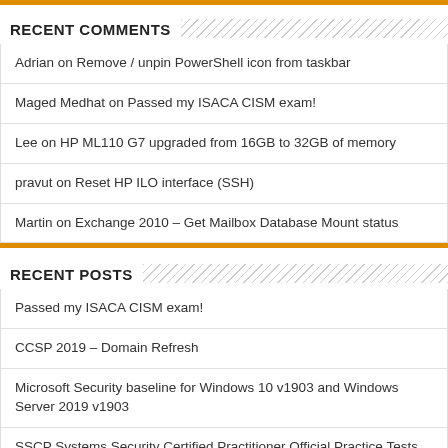RECENT COMMENTS
Adrian on Remove / unpin PowerShell icon from taskbar
Maged Medhat on Passed my ISACA CISM exam!
Lee on HP ML110 G7 upgraded from 16GB to 32GB of memory
pravut on Reset HP ILO interface (SSH)
Martin on Exchange 2010 – Get Mailbox Database Mount status
RECENT POSTS
Passed my ISACA CISM exam!
CCSP 2019 – Domain Refresh
Microsoft Security baseline for Windows 10 v1903 and Windows Server 2019 v1903
SSCP Systems Security Certified Practitioner Official Practice Tests, 1st Edition